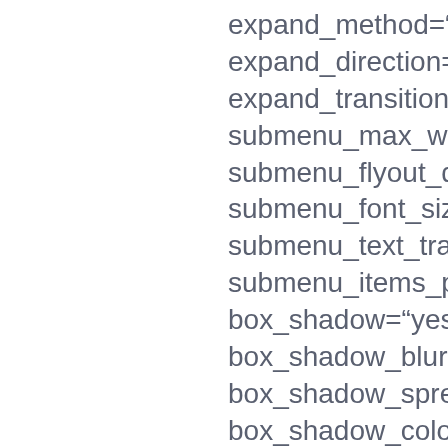expand_method="hover"
expand_direction="right"
expand_transition="slide"
submenu_max_width=""
submenu_flyout_directio
submenu_font_size="16
submenu_text_transform
submenu_items_paddin
box_shadow="yes"
box_shadow_blur="32"
box_shadow_spread="-
box_shadow_color="rgb
box_shadow_style=""